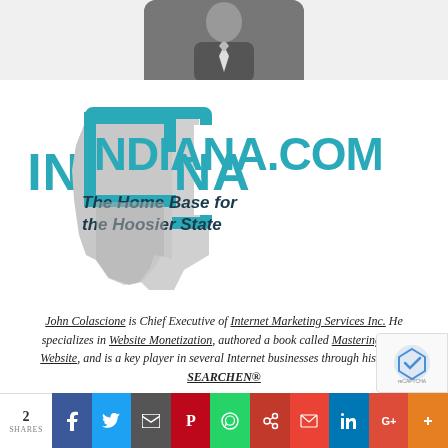[Figure (photo): Partial photo of a person in a suit at the top of the page]
[Figure (logo): Indiana.com logo with Indiana state outline and tagline 'The Home Base for the Hoosier State']
John Colascione is Chief Executive of Internet Marketing Services Inc. He specializes in Website Monetization, authored a book called Mastering Your Website, and is a key player in several Internet businesses through his brand SEARCHEN®